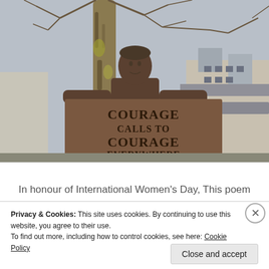[Figure (photo): Bronze statue of a woman (suffragette/Millicent Fawcett) holding a banner that reads 'COURAGE CALLS TO COURAGE EVERYWHERE', set in a park with bare trees and buildings in the background.]
In honour of International Women's Day, This poem
Privacy & Cookies: This site uses cookies. By continuing to use this website, you agree to their use.
To find out more, including how to control cookies, see here: Cookie Policy
Close and accept